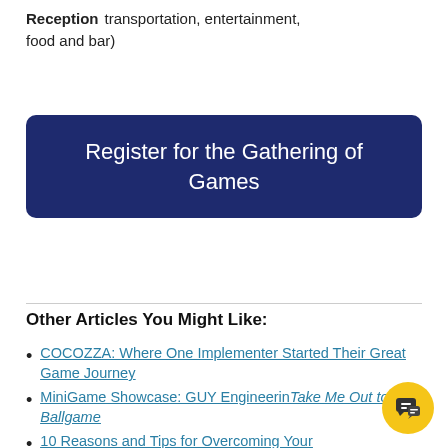Reception  transportation, entertainment, food and bar)
Register for the Gathering of Games
Other Articles You Might Like:
COCOZZA: Where One Implementer Started Their Great Game Journey
MiniGame Showcase: GUY Engineering Take Me Out to the Ballgame
10 Reasons and Tips for Overcoming Your